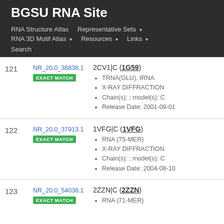BGSU RNA Site
RNA Structure Atlas | Representative Sets ▾ | RNA 3D Motif Atlas ▾ | Resources ▾ | Links ▾ | Search
| # | ID | Details |
| --- | --- | --- |
| 121 | NR_20.0_36838.1 EXACT MATCH | 2CV1|C (1G59)
TRNA(GLU), tRNA
X-RAY DIFFRACTION
Chain(s): ; model(s): C
Release Date: 2001-09-01 |
| 122 | NR_20.0_37913.1 EXACT MATCH | 1VFG|C (1VFG)
RNA (75-MER)
X-RAY DIFFRACTION
Chain(s): ; model(s): C
Release Date: 2004-08-10 |
| 123 | NR_20.0_54038.1 EXACT MATCH | 2ZZN|C (2ZZN)
RNA (71-MER) |